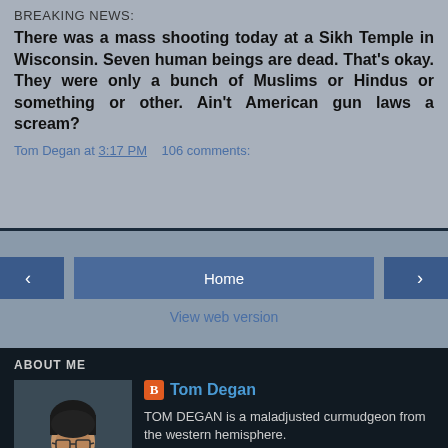BREAKING NEWS:
There was a mass shooting today at a Sikh Temple in Wisconsin. Seven human beings are dead. That's okay. They were only a bunch of Muslims or Hindus or something or other. Ain't American gun laws a scream?
Tom Degan at 3:17 PM   106 comments:
< Home > View web version
ABOUT ME
[Figure (photo): Profile photo of Tom Degan, a man with glasses looking down]
Tom Degan
TOM DEGAN is a maladjusted curmudgeon from the western hemisphere.
View my complete profile
Powered by Blogger.